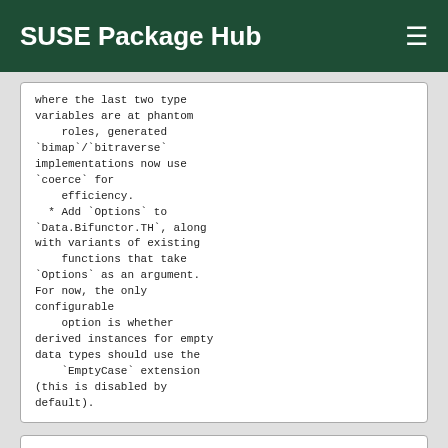SUSE Package Hub
where the last two type variables are at phantom
    roles, generated
`bimap`/`bitraverse`
implementations now use
`coerce` for
    efficiency.
  * Add `Options` to
`Data.Bifunctor.TH`, along
with variants of existing
    functions that take
`Options` as an argument.
For now, the only
configurable
    option is whether
derived instances for empty
data types should use the
    `EmptyCase` extension
(this is disabled by
default).
Version: 5.5.3-bp151.2.2
Version: 5.5.7-bp152.1.8